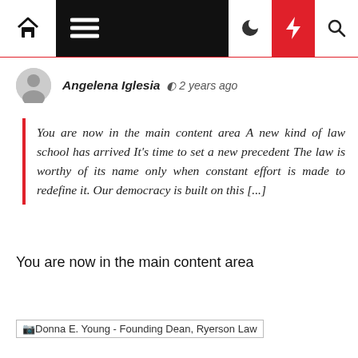Navigation bar with home, menu, dark mode, lightning, and search icons
Angelena Iglesia  2 years ago
You are now in the main content area A new kind of law school has arrived It's time to set a new precedent The law is worthy of its name only when constant effort is made to redefine it. Our democracy is built on this [...]
You are now in the main content area
[Figure (photo): Donna E. Young - Founding Dean, Ryerson Law image placeholder]